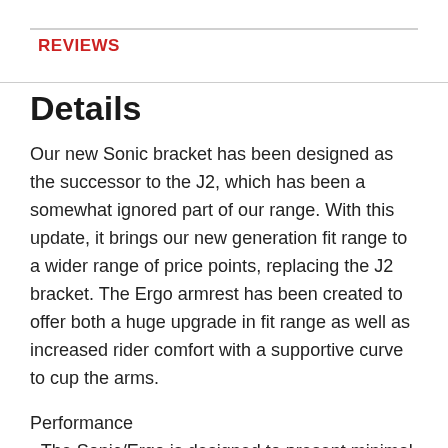REVIEWS
Details
Our new Sonic bracket has been designed as the successor to the J2, which has been a somewhat ignored part of our range. With this update, it brings our new generation fit range to a wider range of price points, replacing the J2 bracket. The Ergo armrest has been created to offer both a huge upgrade in fit range as well as increased rider comfort with a supportive curve to cup the arms.
Performance
- The Sonic/Ergo is designed to present minimal frontal area to create as little aerodynamic drag as possible. The main purpose of an aerobar is, of course, to get the rider into a fast position. Despite a fairly minimalist appearance,